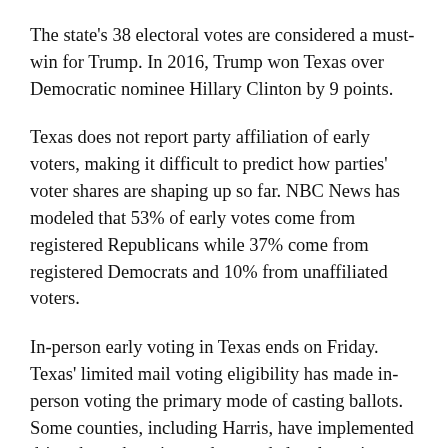The state's 38 electoral votes are considered a must-win for Trump. In 2016, Trump won Texas over Democratic nominee Hillary Clinton by 9 points.
Texas does not report party affiliation of early voters, making it difficult to predict how parties' voter shares are shaping up so far. NBC News has modeled that 53% of early votes come from registered Republicans while 37% come from registered Democrats and 10% from unaffiliated voters.
In-person early voting in Texas ends on Friday. Texas' limited mail voting eligibility has made in-person voting the primary mode of casting ballots. Some counties, including Harris, have implemented drive-through voting and expanded early voting sites to expand voting options. More than 8 million Texans have voted in person, compared with 947,235 ballots returned by mail.
'What we're seeing is, when you build it they come,' Harris